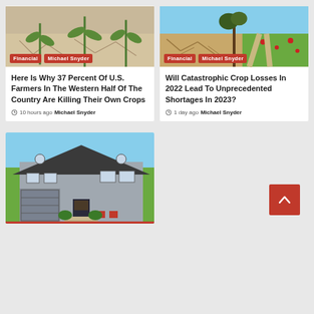[Figure (photo): Corn seedlings growing in dry cracked soil]
Financial | Michael Snyder
Here Is Why 37 Percent Of U.S. Farmers In The Western Half Of The Country Are Killing Their Own Crops
10 hours ago  Michael Snyder
[Figure (photo): Cracked dry farmland with a tree and green field in the distance]
Financial | Michael Snyder
Will Catastrophic Crop Losses In 2022 Lead To Unprecedented Shortages In 2023?
1 day ago  Michael Snyder
[Figure (photo): Gray suburban house with attached garage and front yard landscaping]